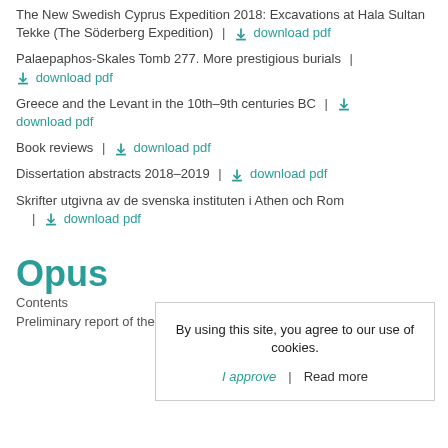The New Swedish Cyprus Expedition 2018: Excavations at Hala Sultan Tekke (The Söderberg Expedition) | download pdf
Palaepaphos-Skales Tomb 277. More prestigious burials | download pdf
Greece and the Levant in the 10th–9th centuries BC | download pdf
Book reviews | download pdf
Dissertation abstracts 2018–2019 | download pdf
Skrifter utgivna av de svenska instituten i Athen och Rom | download pdf
Opus
Contents
Preliminary report of the Malthi Archaeological Project,
By using this site, you agree to our use of cookies. I approve | Read more